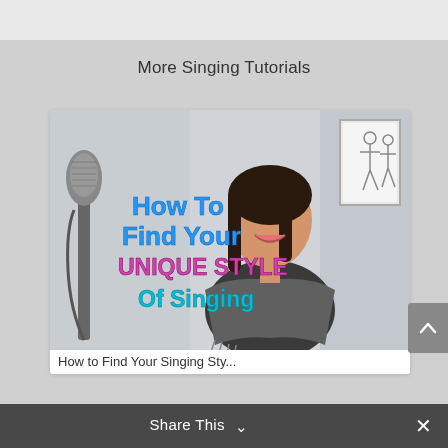More Singing Tutorials
[Figure (screenshot): Thumbnail image of a singing tutorial video titled 'How To Find Your Unique Style Of Singing', showing a woman smiling next to a microphone with colorful text overlay.]
How to Find Your Singing Sty...
Share This ∨
✕